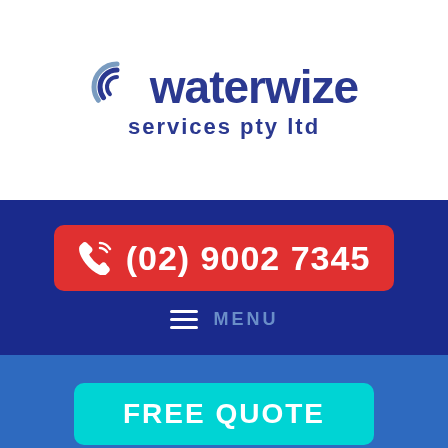[Figure (logo): Waterwize Services PTY LTD logo with swoosh icon and blue text]
(02) 9002 7345
MENU
FREE QUOTE
We provide emergency services within the hour